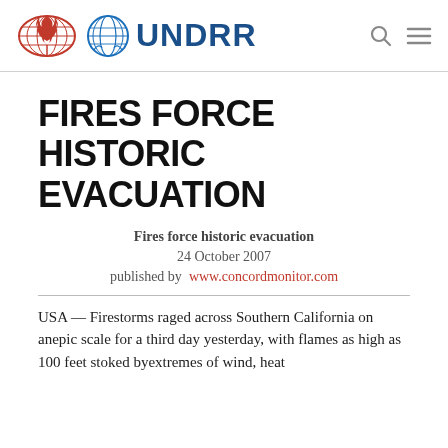[Figure (logo): UNDRR website header with two logos (red flame/globe logo and UN blue emblem) and UNDRR text, plus search and menu icons]
FIRES FORCE HISTORIC EVACUATION
Fires force historic evacuation
24 October 2007
published by  www.concordmonitor.com
USA — Firestorms raged across Southern California on anepic scale for a third day yesterday, with flames as high as 100 feet stoked byextremes of wind, heat